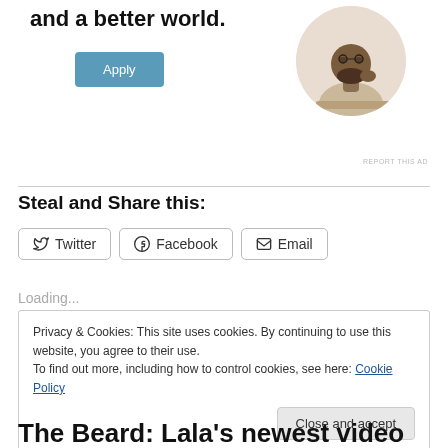[Figure (illustration): Advertisement section with bold text 'and a better world.' and a blue Apply button. A circular portrait photo of a man thinking at a desk is shown on the right. A small 'REPORT THIS AD' link appears below.]
Steal and Share this:
[Figure (other): Social share buttons: Twitter, Facebook, Email — each with icon and label, bordered rectangles]
Loading...
Privacy & Cookies: This site uses cookies. By continuing to use this website, you agree to their use.
To find out more, including how to control cookies, see here: Cookie Policy
Close and accept
The Beard: Lala's newest video